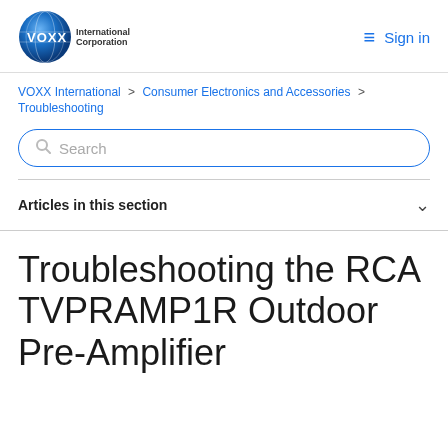VOXX International Corporation — Sign in
VOXX International > Consumer Electronics and Accessories > Troubleshooting
[Figure (screenshot): Search input box with placeholder text 'Search']
Articles in this section
Troubleshooting the RCA TVPRAMP1R Outdoor Pre-Amplifier